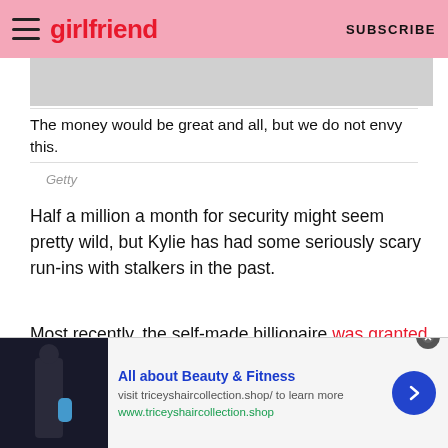girlfriend | SUBSCRIBE
[Figure (photo): Gray image placeholder at top of article]
The money would be great and all, but we do not envy this.
Getty
Half a million a month for security might seem pretty wild, but Kylie has had some seriously scary run-ins with stalkers in the past.
Most recently, the self-made billionaire was granted a restraining order against a fan who turned up to her home and knocked aggressively on the door asking to see her.
[Figure (infographic): Advertisement banner: All about Beauty & Fitness — visit triceyshaircollection.shop/ to learn more, www.triceyshaircollection.shop]